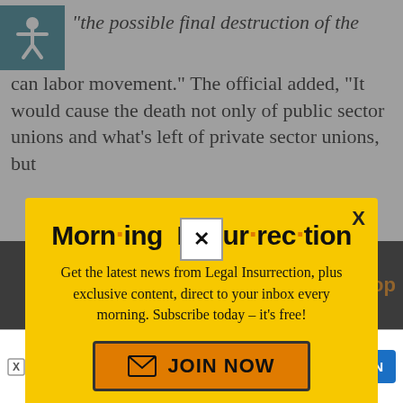“the possible final destruction of the can labor movement.” The official added, “It would cause the death not only of public sector unions and what’s left of private sector unions, but
[Figure (screenshot): Modal popup with yellow background titled 'Morning Insurrection' newsletter signup. Contains subtitle text 'Get the latest news from Legal Insurrection, plus exclusive content, direct to your inbox every morning. Subscribe today – it’s free!' and an orange JOIN NOW button. An X close button is in the top right.]
[Figure (screenshot): Bottom area showing app icon strip on dark background, a small white X close button, and an advertisement strip for 'Build Nuclear Now' with text 'Advanced nuclear energy is a safe, zero-rbon solution' and a blue OPEN button. Amazon.com text visible at very bottom.]